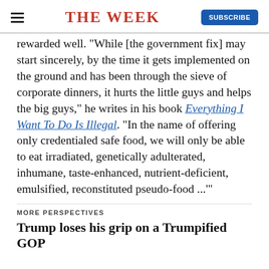THE WEEK
rewarded well. "While [the government fix] may start sincerely, by the time it gets implemented on the ground and has been through the sieve of corporate dinners, it hurts the little guys and helps the big guys," he writes in his book Everything I Want To Do Is Illegal. "In the name of offering only credentialed safe food, we will only be able to eat irradiated, genetically adulterated, inhumane, taste-enhanced, nutrient-deficient, emulsified, reconstituted pseudo-food ..."
MORE PERSPECTIVES
Trump loses his grip on a Trumpified GOP